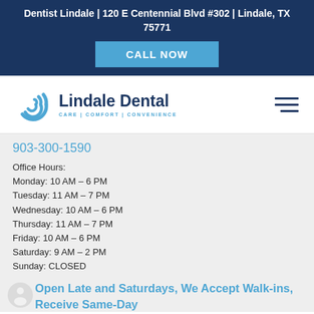Dentist Lindale | 120 E Centennial Blvd #302 | Lindale, TX 75771
CALL NOW
[Figure (logo): Lindale Dental logo with stylized blue swirl/C icon and text 'Lindale Dental' with tagline 'CARE | COMFORT | CONVENIENCE']
903-300-1590
Office Hours:
Monday: 10 AM – 6 PM
Tuesday: 11 AM – 7 PM
Wednesday: 10 AM – 6 PM
Thursday: 11 AM – 7 PM
Friday: 10 AM – 6 PM
Saturday: 9 AM – 2 PM
Sunday: CLOSED
Open Late and Saturdays, We Accept Walk-ins, Receive Same-Day